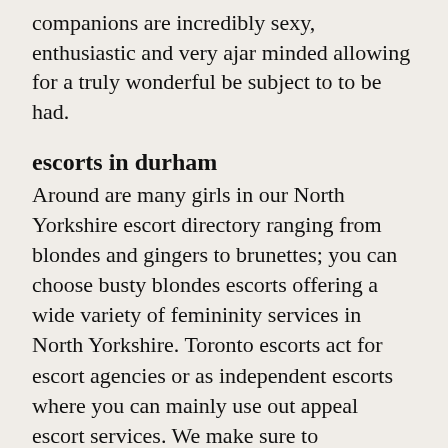companions are incredibly sexy, enthusiastic and very ajar minded allowing for a truly wonderful be subject to to be had.
escorts in durham
Around are many girls in our North Yorkshire escort directory ranging from blondes and gingers to brunettes; you can choose busty blondes escorts offering a wide variety of femininity services in North Yorkshire. Toronto escorts act for escort agencies or as independent escorts where you can mainly use out appeal escort services. We make sure to assessment for duplicates to make sure you acquire ads variety that you are looking for: Some of these escorts or call girls also provide incall escort services. Pickering accompany gallery is updated on a daily base so please check regularly for new escorts in Pickering, North Yorkshire